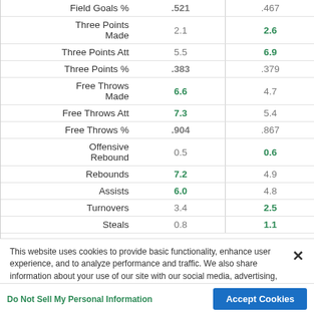| Stat | Team1 | Team2 |
| --- | --- | --- |
| Field Goals % | .521 | .467 |
| Three Points Made | 2.1 | 2.6 |
| Three Points Att | 5.5 | 6.9 |
| Three Points % | .383 | .379 |
| Free Throws Made | 6.6 | 4.7 |
| Free Throws Att | 7.3 | 5.4 |
| Free Throws % | .904 | .867 |
| Offensive Rebound | 0.5 | 0.6 |
| Rebounds | 7.2 | 4.9 |
| Assists | 6.0 | 4.8 |
| Turnovers | 3.4 | 2.5 |
| Steals | 0.8 | 1.1 |
This website uses cookies to provide basic functionality, enhance user experience, and to analyze performance and traffic. We also share information about your use of our site with our social media, advertising, and analytics partners.
By using this website you agree to our Terms of Use.
Do Not Sell My Personal Information
Accept Cookies